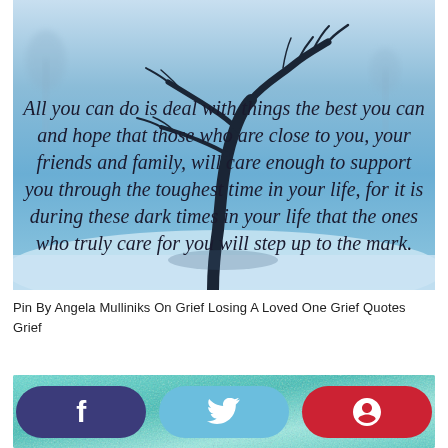[Figure (photo): A bare tree in a snowy winter landscape with blue/grey sky, overlaid with an italic quote about dealing with hard times and true friends and family.]
Pin By Angela Mulliniks On Grief Losing A Loved One Grief Quotes Grief
[Figure (photo): A teal/turquoise textured background with bold italic text partially visible reading 'Missing...' — the beginning of another grief quote.]